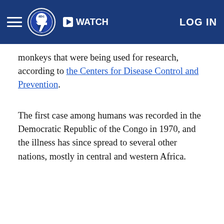abc7 | WATCH | LOG IN
monkeys that were being used for research, according to the Centers for Disease Control and Prevention.
The first case among humans was recorded in the Democratic Republic of the Congo in 1970, and the illness has since spread to several other nations, mostly in central and western Africa.